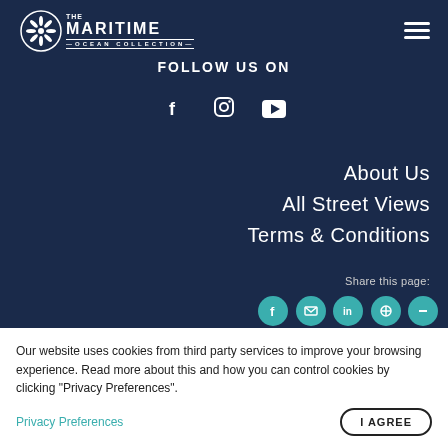[Figure (logo): The Maritime Ocean Collection logo with a circular coral/sea creature icon and text]
FOLLOW US ON
[Figure (infographic): Social media icons: Facebook, Instagram, YouTube]
About Us
All Street Views
Terms & Conditions
Share this page:
[Figure (infographic): Five circular teal share buttons (Facebook, Twitter, LinkedIn, Pinterest, Email/minus)]
Our website uses cookies from third party services to improve your browsing experience. Read more about this and how you can control cookies by clicking "Privacy Preferences".
Privacy Preferences
I AGREE